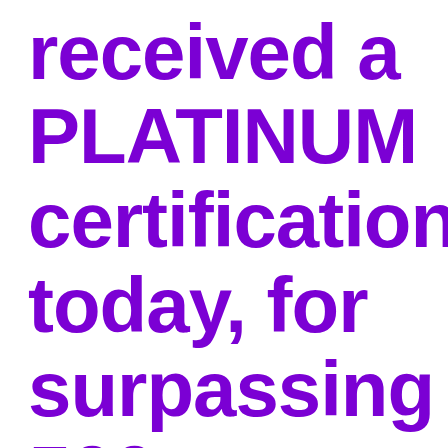received a PLATINUM certification today, for surpassing 500